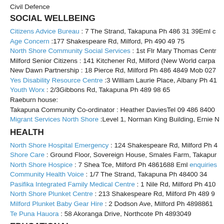Civil Defence
SOCIAL WELLBEING
Citizens Advice Bureau : 7 The Strand, Takapuna Ph 486 31 39Eml c
Age Concern :177 Shakespeare Rd, Milford, Ph 490 49 75
North Shore Community Social Services : 1st Flr Mary Thomas Centr
Milford Senior Citizens : 141 Kitchener Rd, Milford (New World carpa
New Dawn Partnership : 18 Pierce Rd, Milford Ph 486 4849 Mob 027
Yes Disability Resource Centre :3 William Laurie Place, Albany Ph 41
Youth Worx : 2/3Gibbons Rd, Takapuna Ph 489 98 65
Raeburn house:
Takapuna Community Co-ordinator : Heather DaviesTel 09 486 8400
Migrant Services North Shore :Level 1, Norman King Building, Ernie N
HEALTH
North Shore Hospital Emergency : 124 Shakespeare Rd, Milford Ph 4
Shore Care : Ground Floor, Sovereign House, Smales Farm, Takapur
North Shore Hospice : 7 Shea Tce, Milford Ph 4861688 Eml enquiries
Community Health Voice : 1/7 The Strand, Takapuna Ph 48400 34
Pasifika Integrated Family Medical Centre : 1 Nile Rd, Milford Ph 410
North Shore Plunket Centre : 213 Shakespeare Rd, Milford Ph 489 9
Milford Plunket Baby Gear Hire : 2 Dodson Ave, Milford Ph 4898861
Te Puna Hauora : 58 Akoranga Drive, Northcote Ph 4893049
EDUCATIONAL